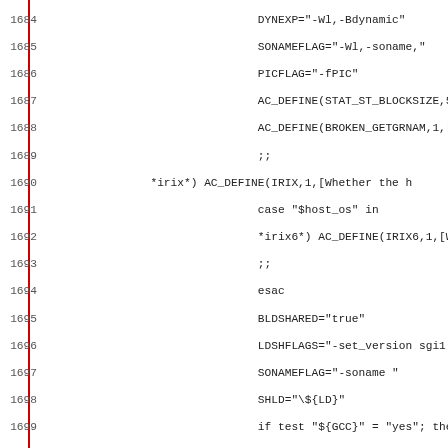Source code listing lines 1684-1715 showing shell script configuration for shared library building across IRIX and AIX platforms